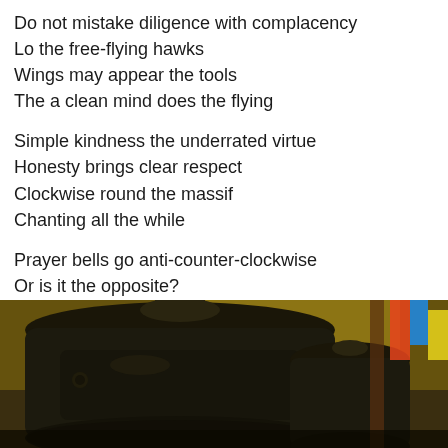Do not mistake diligence with complacency
Lo the free-flying hawks
Wings may appear the tools
The a clean mind does the flying
Simple kindness the underrated virtue
Honesty brings clear respect
Clockwise round the massif
Chanting all the while
Prayer bells go anti-counter-clockwise
Or is it the opposite?
Spin it wrong, good still comes
When done with the right intentions
[Figure (photo): Close-up photograph of large dark metal prayer bells or gongs in a temple or outdoor setting, with colorful decorations visible in the background.]